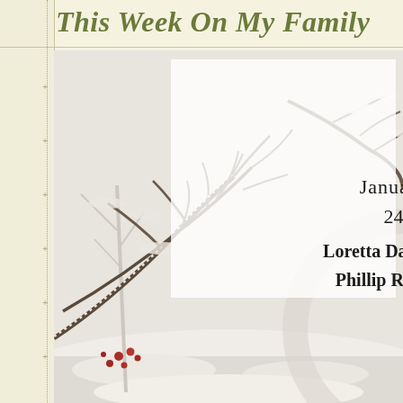This Week On My Family
[Figure (photo): Winter scene with snow-covered bare branches and red berries, with a circular decorative element on the right side. A semi-transparent white overlay box in the center-left of the photo contains text.]
January
24
Loretta Daughrity
Phillip Roberts